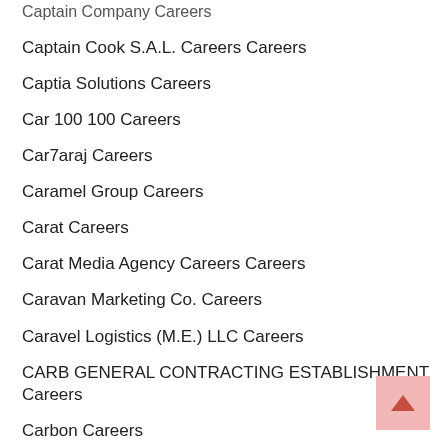Captain Company Careers
Captain Cook S.A.L. Careers Careers
Captia Solutions Careers
Car 100 100 Careers
Car7araj Careers
Caramel Group Careers
Carat Careers
Carat Media Agency Careers Careers
Caravan Marketing Co. Careers
Caravel Logistics (M.E.) LLC Careers
CARB GENERAL CONTRACTING ESTABLISHMENT Careers
Carbon Careers
Carbone Careers
CARBOX SERVICES LLC Careers
Cardio Diagnostics Careers
Care Consulting Careers